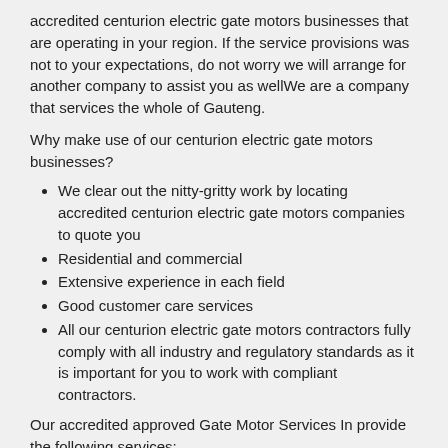accredited centurion electric gate motors businesses that are operating in your region. If the service provisions was not to your expectations, do not worry we will arrange for another company to assist you as wellWe are a company that services the whole of Gauteng.
Why make use of our centurion electric gate motors businesses?
We clear out the nitty-gritty work by locating accredited centurion electric gate motors companies to quote you
Residential and commercial
Extensive experience in each field
Good customer care services
All our centurion electric gate motors contractors fully comply with all industry and regulatory standards as it is important for you to work with compliant contractors.
Our accredited approved Gate Motor Services In provide the following services:
Buy automated gates Honingklip
Centurion gate motors prices Honingklip
Electric gate motor repairs Honingklip
Centurion roller door motor Honingklip
Driveway gates repair Honingklip
Century gate motors Honingklip
Gate Motor Services In Honingklip
Centurion d5 gate motor Honingklip
Centurion garage motor Honingklip